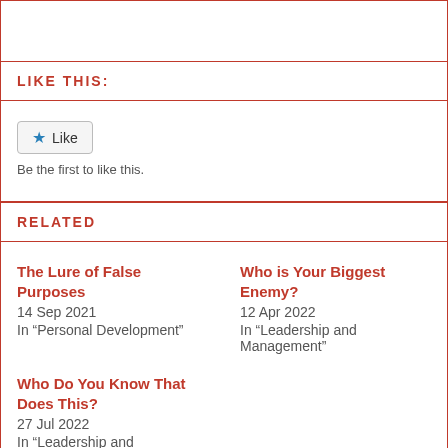LIKE THIS:
Like
Be the first to like this.
RELATED
The Lure of False Purposes
14 Sep 2021
In "Personal Development"
Who is Your Biggest Enemy?
12 Apr 2022
In "Leadership and Management"
Who Do You Know That Does This?
27 Jul 2022
In "Leadership and Management"
PREVIOUS